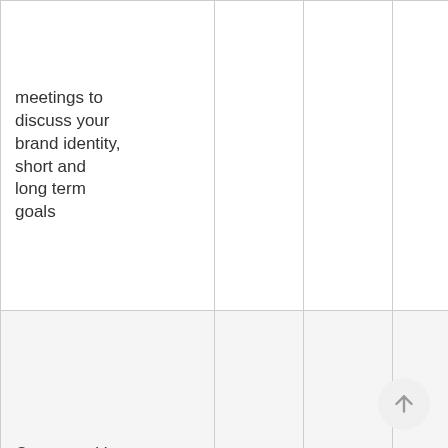| Feature | Plan A | Plan B | Plan C |
| --- | --- | --- | --- |
| meetings to discuss your brand identity, short and long term goals |  |  |  |
| Connect with and engage your customers and encourage follower growth | X | X | X |
| Include a page advertisement and paid boosts for every FB post | X | X | X |